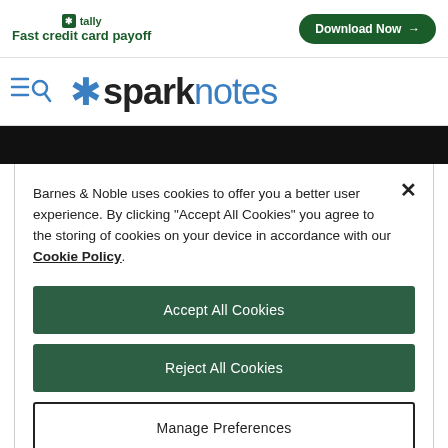[Figure (other): Tally ad banner with green logo, 'Fast credit card payoff' tagline and 'Download Now' button]
[Figure (logo): SparkNotes logo with asterisk and hamburger/search nav icons]
Barnes & Noble uses cookies to offer you a better user experience. By clicking "Accept All Cookies" you agree to the storing of cookies on your device in accordance with our Cookie Policy.
Accept All Cookies
Reject All Cookies
Manage Preferences